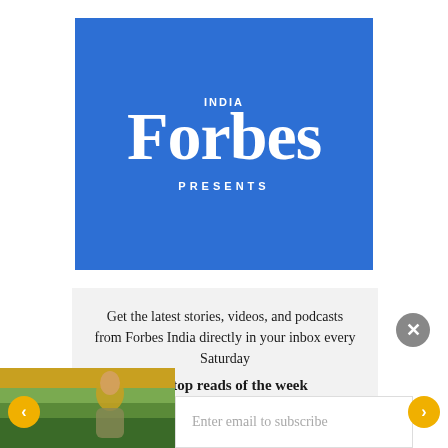[Figure (logo): Forbes India logo on blue background with 'PRESENTS' text below]
Get the latest stories, videos, and podcasts from Forbes India directly in your inbox every Saturday
Our top reads of the week
[Figure (photo): Woman reading outdoors in golden sunlight]
Enter email to subscribe